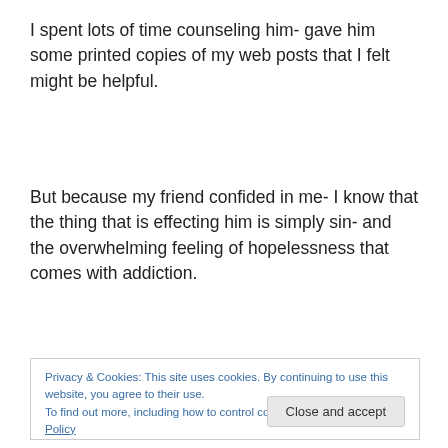I spent lots of time counseling him- gave him some printed copies of my web posts that I felt might be helpful.
But because my friend confided in me- I know that the thing that is effecting him is simply sin- and the overwhelming feeling of hopelessness that comes with addiction.
Privacy & Cookies: This site uses cookies. By continuing to use this website, you agree to their use. To find out more, including how to control cookies, see here: Cookie Policy   Close and accept